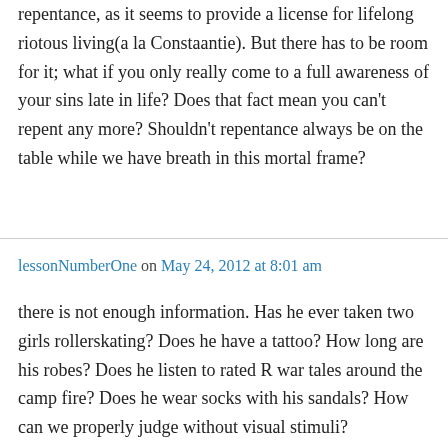repentance, as it seems to provide a license for lifelong riotous living(a la Constaantie). But there has to be room for it; what if you only really come to a full awareness of your sins late in life? Does that fact mean you can't repent any more? Shouldn't repentance always be on the table while we have breath in this mortal frame?
lessonNumberOne on May 24, 2012 at 8:01 am
there is not enough information. Has he ever taken two girls rollerskating? Does he have a tattoo? How long are his robes? Does he listen to rated R war tales around the camp fire? Does he wear socks with his sandals? How can we properly judge without visual stimuli?